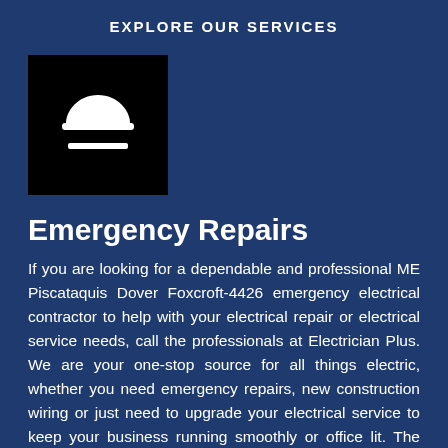EXPLORE OUR SERVICES
[Figure (illustration): Black square icon with a white construction/safety helmet and a horizontal line beneath it]
Emergency Repairs
If you are looking for a dependable and professional ME Piscataquis Dover Foxcroft-4426 emergency electrical contractor to help with your electrical repair or electrical service needs, call the professionals at Electrician Plus. We are your one-stop source for all things electric, whether you need emergency repairs, new construction wiring or just need to upgrade your electrical service to keep your business running smoothly or office lit. The point is that if you need an electrician in ME Piscataquis Dover Foxcroft-4426 for any reason, we are the